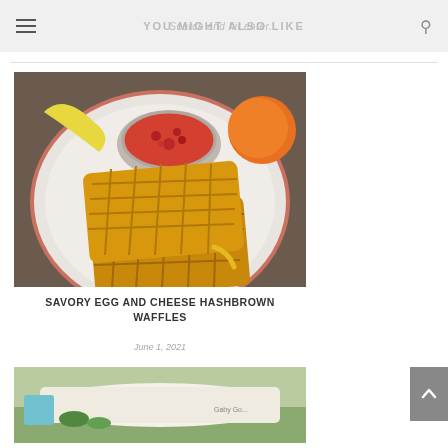YOU MIGHT ALSO LIKE
[Figure (photo): Savory egg and cheese hashbrown waffles on a white plate with a bowl of tomato salsa, fruits in background]
SAVORY EGG AND CHEESE HASHBROWN WAFFLES
June 1, 2021
[Figure (photo): Partial view of a second food photo, appears to show a light-colored food item on a surface]